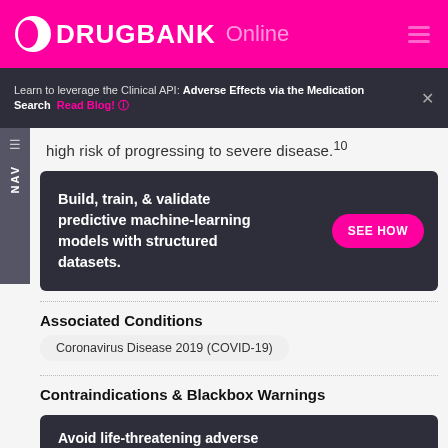DRUGBANK Online
Learn to leverage the Clinical API: Adverse Effects via the Medication Search  Read Blog! ×
high risk of progressing to severe disease.10
Build, train, & validate predictive machine-learning models with structured datasets.  SEE HOW
Associated Conditions
Coronavirus Disease 2019 (COVID-19)
Contraindications & Blackbox Warnings
Avoid life-threatening adverse